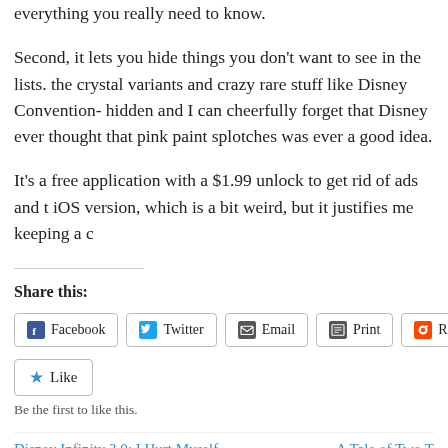everything you really need to know.
Second, it lets you hide things you don't want to see in the lists. the crystal variants and crazy rare stuff like Disney Convention- hidden and I can cheerfully forget that Disney ever thought that pink paint splotches was ever a good idea.
It's a free application with a $1.99 unlock to get rid of ads and to iOS version, which is a bit weird, but it justifies me keeping a c
Share this:
Facebook  Twitter  Email  Print  Reddit
Like
Be the first to like this.
Disney Infinity 3.0: I Hurt Myself, Today    A Tale of Two T